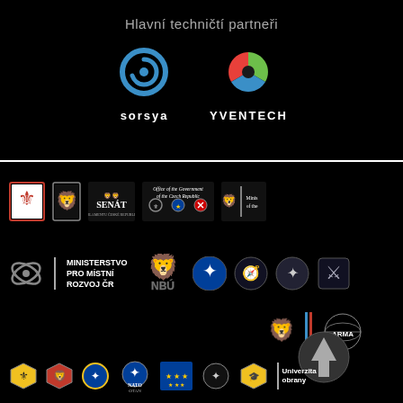Hlavní techničtí partneři
[Figure (logo): Sorsya company logo - blue swirl graphic with text 'sorsya' below]
[Figure (logo): Yventech company logo - colorful triangular icon with text 'YVENTECH' below]
[Figure (logo): Multiple Czech government and institutional logos including: Czech coat of arms, Parliament, Senát, Office of the Government of the Czech Republic, Ministerstvo pro místní rozvoj ČR (Ministry for Regional Development), NBÚ, NATO symbols, military and security organization logos, and Univerzita obrany]
Univerzita obrany